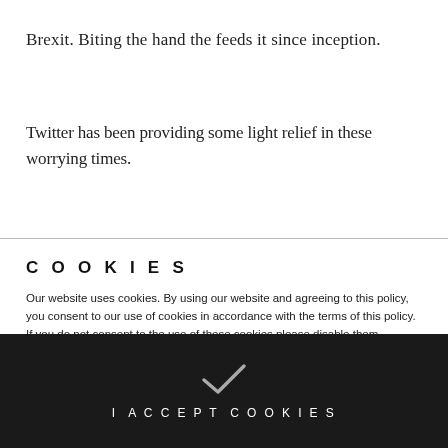Brexit. Biting the hand the feeds it since inception.
Twitter has been providing some light relief in these worrying times.
COOKIES
Our website uses cookies. By using our website and agreeing to this policy, you consent to our use of cookies in accordance with the terms of this policy. If you do not consent to the use of these cookies please disable them following the instructions in this Cookie Notice so that cookies from this website cannot be placed on your device.
I ACCEPT COOKIES